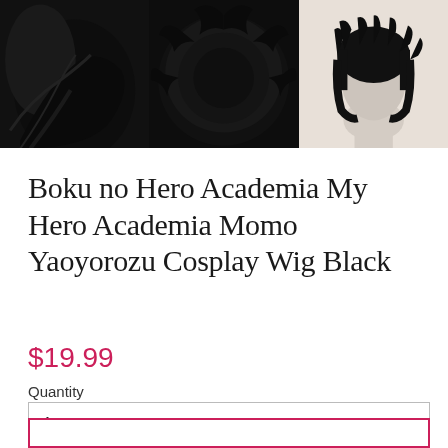[Figure (photo): Three product images of a black cosplay wig. Left: close-up side view of black wig with flowing hair. Center: top/back view of black wig showing volume and spiky texture. Right: front view of black wig on a white mannequin head.]
Boku no Hero Academia My Hero Academia Momo Yaoyorozu Cosplay Wig Black
$19.99
Quantity
1